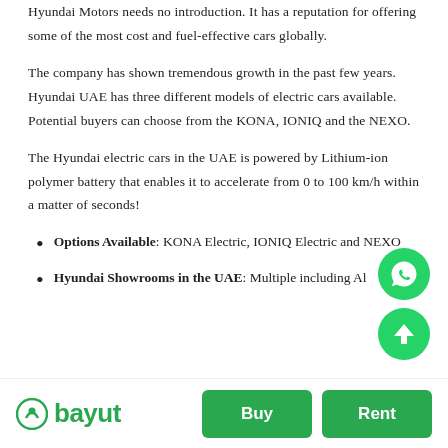Hyundai Motors needs no introduction. It has a reputation for offering some of the most cost and fuel-effective cars globally.
The company has shown tremendous growth in the past few years. Hyundai UAE has three different models of electric cars available. Potential buyers can choose from the KONA, IONIQ and the NEXO.
The Hyundai electric cars in the UAE is powered by Lithium-ion polymer battery that enables it to accelerate from 0 to 100 km/h within a matter of seconds!
Options Available: KONA Electric, IONIQ Electric and NEXO
Hyundai Showrooms in the UAE: Multiple including Al
[Figure (logo): WhatsApp green circular button]
[Figure (logo): Scroll up green circular button with upward arrow]
bayut  Buy  Rent